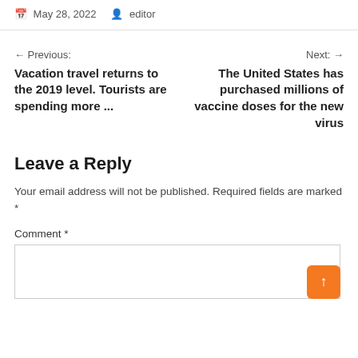May 28, 2022  editor
← Previous: Vacation travel returns to the 2019 level. Tourists are spending more ...
Next: → The United States has purchased millions of vaccine doses for the new virus
Leave a Reply
Your email address will not be published. Required fields are marked *
Comment *